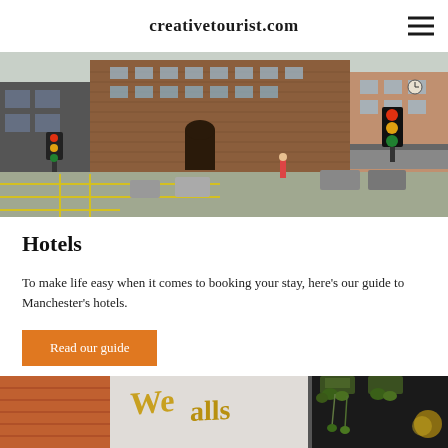creativetourist.com
[Figure (photo): Street-level photo of Manchester city centre showing a large brick building, traffic lights, and a wide intersection with yellow box markings.]
Hotels
To make life easy when it comes to booking your stay, here's our guide to Manchester's hotels.
Read our guide
[Figure (photo): Close-up photo of a Manchester bar or restaurant exterior with gold lettering signage and hanging plant boxes.]